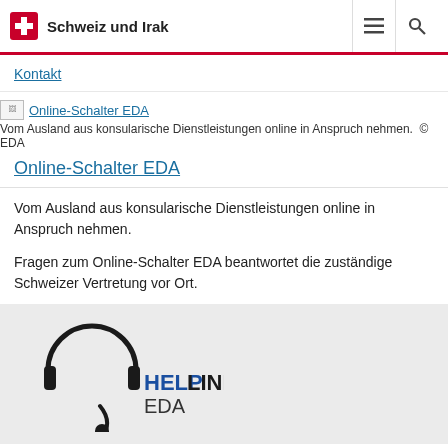Schweiz und Irak
Kontakt
[Figure (screenshot): Broken image placeholder with text 'Online-Schalter EDA']
Vom Ausland aus konsularische Dienstleistungen online in Anspruch nehmen.  ©  EDA
Online-Schalter EDA
Vom Ausland aus konsularische Dienstleistungen online in Anspruch nehmen.
Fragen zum Online-Schalter EDA beantwortet die zuständige Schweizer Vertretung vor Ort.
[Figure (logo): Helpline EDA logo with headset illustration and text HELPLINE EDA]